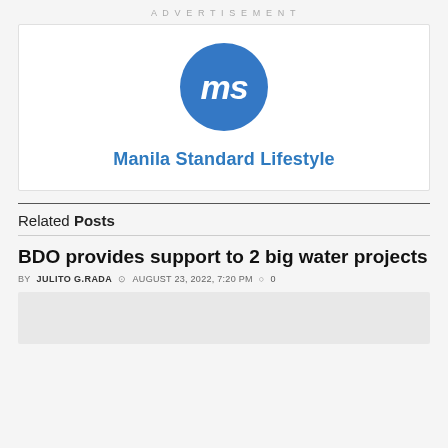ADVERTISEMENT
[Figure (logo): Manila Standard Lifestyle logo: blue circle with white italic 'ms' text, and blue bold text 'Manila Standard Lifestyle' below]
Related Posts
BDO provides support to 2 big water projects
BY JULITO G.RADA  AUGUST 23, 2022, 7:20 PM  0
[Figure (photo): Partial thumbnail image of article, light grey placeholder]